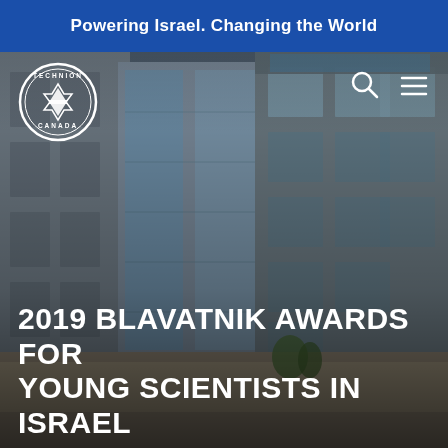Powering Israel. Changing the World
[Figure (photo): Exterior photograph of modern university building complex (Technion campus), multi-story glass and stone facade, daytime, with a circular Technion Canada logo overlaid top-left and search/hamburger menu icons top-right]
2019 BLAVATNIK AWARDS FOR YOUNG SCIENTISTS IN ISRAEL